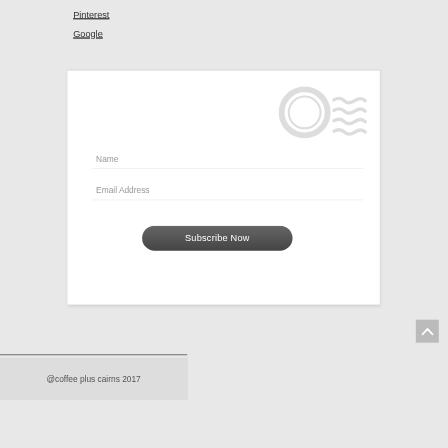Pinterest
Google
[Figure (screenshot): Email subscription form with Name and Email Address fields, a Subscribe Now button, and a decorative postmark stamp graphic in the top right corner]
[Figure (other): Back to top button with upward chevron arrow]
@coffee plus cairns 2017